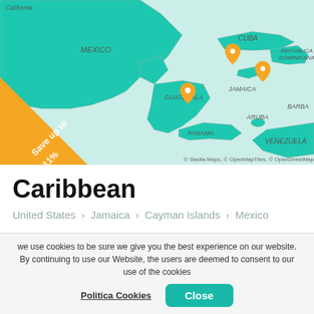[Figure (map): Map of Central America and Caribbean region showing teal/green highlighted countries including Mexico, Guatemala, Panama, Cuba, Jamaica, Dominican Republic, Aruba, Venezuela, with orange location pin markers on several destinations. Orange triangular badge in bottom-left corner reads 'Save up to 11%'. Map attribution: © Stadia Maps, © OpenMapTiles, © OpenStreetMap]
Caribbean
United States > Jamaica > Cayman Islands > Mexico
from $773
we use cookies to be sure we give you the best experience on our website. By continuing to use our Website, the users are deemed to consent to our use of the cookies
Politica Cookies
Close